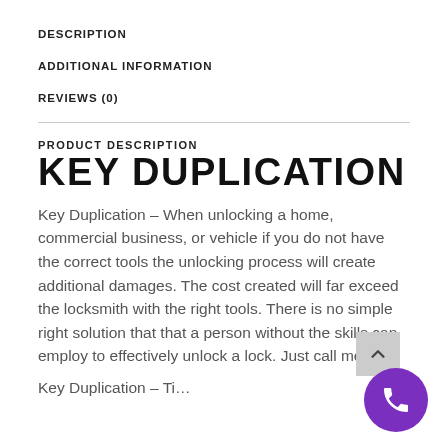DESCRIPTION
ADDITIONAL INFORMATION
REVIEWS (0)
PRODUCT DESCRIPTION
KEY DUPLICATION
Key Duplication – When unlocking a home, commercial business, or vehicle if you do not have the correct tools the unlocking process will create additional damages. The cost created will far exceed the locksmith with the right tools. There is no simple right solution that that a person without the skills can employ to effectively unlock a lock. Just call me.
Key Duplication – Ti…